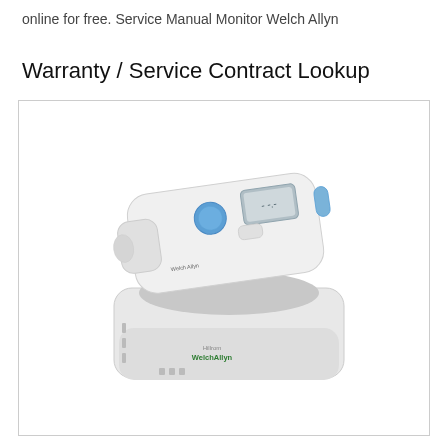online for free. Service Manual Monitor Welch Allyn
Warranty / Service Contract Lookup
[Figure (photo): A Welch Allyn infrared ear thermometer (white, with small display and blue button) seated in its white charging/storage dock base. The Welch Allyn logo in green is visible on the front of the base.]